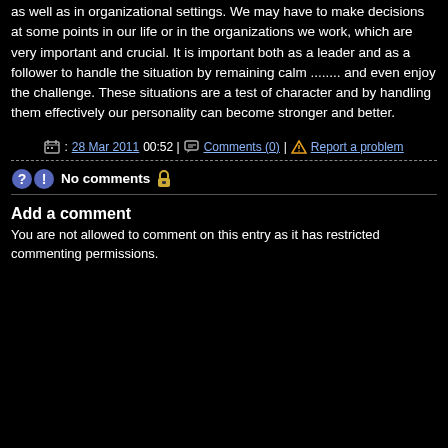as well as in organizational settings. We may have to make decisions at some points in our life or in the organizations we work, which are very important and crucial. It is important both as a leader and as a follower to handle the situation by remaining calm ........ and even enjoy the challenge. These situations are a test of character and by handling them effectively our personality can become stronger and better.
: 28 Mar 2011 00:52 | Comments (0) | Report a problem
No comments
Add a comment
You are not allowed to comment on this entry as it has restricted commenting permissions.